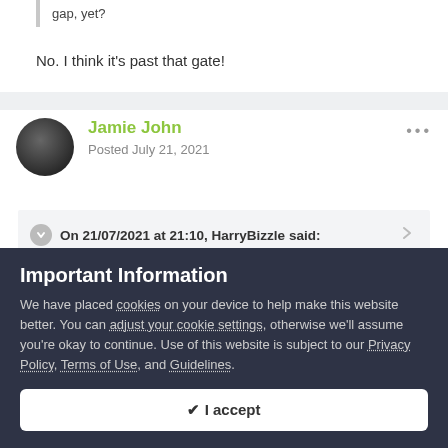gap, yet?
No. I think it's past that gate!
Jamie John
Posted July 21, 2021
On 21/07/2021 at 21:10, HarryBizzle said:
Important Information
We have placed cookies on your device to help make this website better. You can adjust your cookie settings, otherwise we'll assume you're okay to continue. Use of this website is subject to our Privacy Policy, Terms of Use, and Guidelines.
✔ I accept